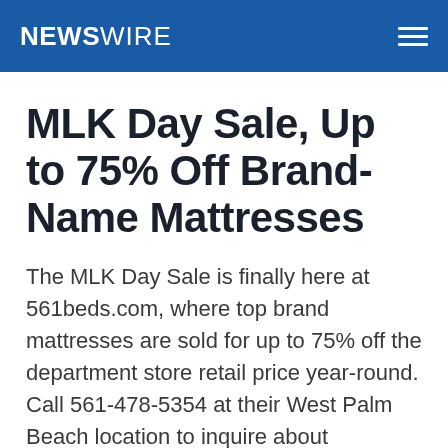NEWSWIRE
MLK Day Sale, Up to 75% Off Brand-Name Mattresses
The MLK Day Sale is finally here at 561beds.com, where top brand mattresses are sold for up to 75% off the department store retail price year-round. Call 561-478-5354 at their West Palm Beach location to inquire about